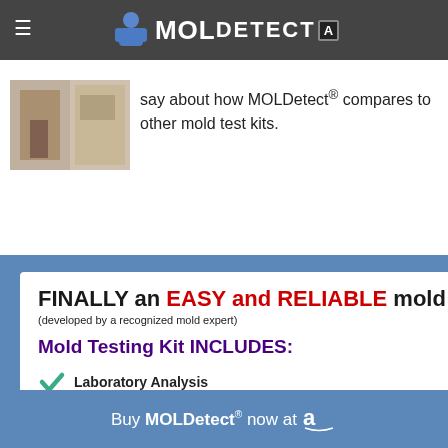MOLDetect logo header with hamburger menu
say about how MOLDetect® compares to other mold test kits.
FINALLY an EASY and RELIABLE mold t...
(developed by a recognized mold expert)
Mold Testing Kit INCLUDES:
Laboratory Analysis
Detects all mold spores (living & nonliving)
1 Test
2 Tests
3 Tests
ORDER NOW!  1-866-225-MOLD
Buy MOLDetect® now at Amazon